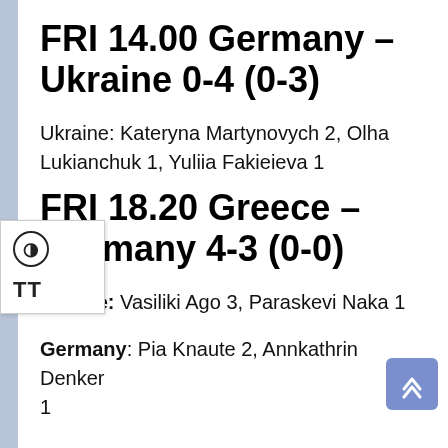FRI 14.00 Germany – Ukraine 0-4 (0-3)
Ukraine: Kateryna Martynovych 2, Olha Lukianchuk 1, Yuliia Fakieieva 1
FRI 18.20 Greece – Germany 4-3 (0-0)
Greece: Vasiliki Ago 3, Paraskevi Naka 1
Germany: Pia Knaute 2, Annkathrin Denker 1